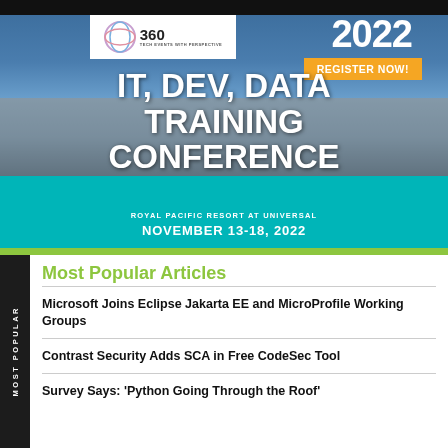[Figure (illustration): Conference advertisement banner for IT, Dev, Data Training Conference 2022 at Royal Pacific Resort at Universal, November 13-18, 2022. Shows logo with '360', year '2022', orange 'REGISTER NOW!' button, conference title text, teal wave, and venue details.]
Most Popular Articles
Microsoft Joins Eclipse Jakarta EE and MicroProfile Working Groups
Contrast Security Adds SCA in Free CodeSec Tool
Survey Says: 'Python Going Through the Roof'